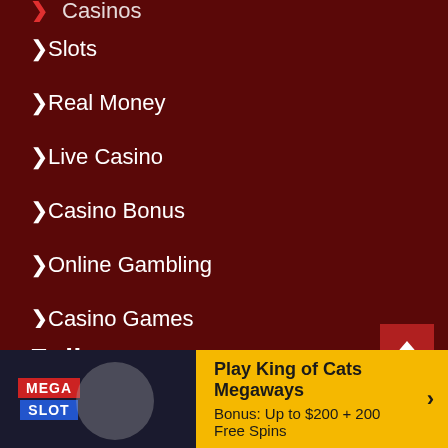Slots
Real Money
Live Casino
Casino Bonus
Online Gambling
Casino Games
About Us
Follow us
[Figure (logo): Mega Slot logo — red MEGA and blue SLOT text blocks]
Play King of Cats Megaways
Bonus: Up to $200 + 200 Free Spins